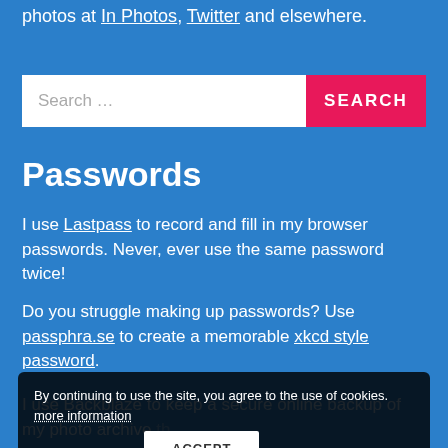photos at In Photos, Twitter and elsewhere.
[Figure (screenshot): Search bar with white input field and pink/red SEARCH button]
Passwords
I use Lastpass to record and fill in my browser passwords. Never, ever use the same password twice!
Do you struggle making up passwords? Use passphra.se to create a memorable xkcd style password.
I use Backblaze to keep a secure online backup of my photo archive that is important to me.
So far I've backed up 1,384,723MB 4,669,639MB of
By continuing to use the site, you agree to the use of cookies. more information ACCEPT